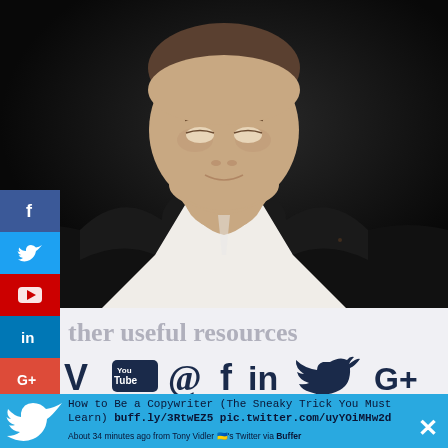[Figure (photo): Headshot of a man in a black suit jacket and white shirt, dark background, cropped below chin]
[Figure (infographic): Vertical social media share sidebar with Facebook (blue), Twitter (light blue), YouTube (red), LinkedIn (blue), Google+ (red-orange) icon buttons]
ther useful resources
[Figure (infographic): Row of social media icons: Vimeo, YouTube, Pinterest, Facebook, LinkedIn, Twitter, Google+]
How to Be a Copywriter (The Sneaky Trick You Must Learn) buff.ly/3RtwEZ5 pic.twitter.com/uyYOiMHw2d
About 34 minutes ago from Tony Vidler 🇺🇦's Twitter via Buffer